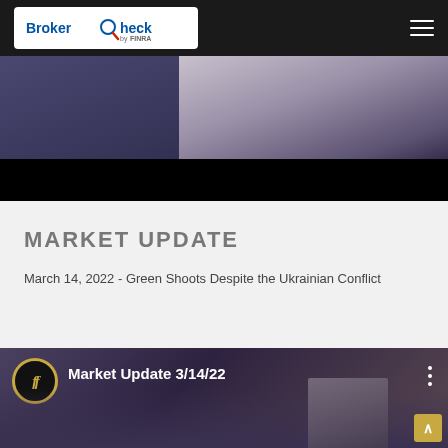BrokerCheck by FINRA
[Figure (photo): Partial cropped photo of a person in a dark suit against a dark background with a black bar at the bottom]
MARKET UPDATE
March 14, 2022 - Green Shoots Despite the Ukrainian Conflict
[Figure (screenshot): Video thumbnail showing 'Market Update 3/14/22' with a gold circular logo containing stylized 'ff' letterform, and a person visible in the background]